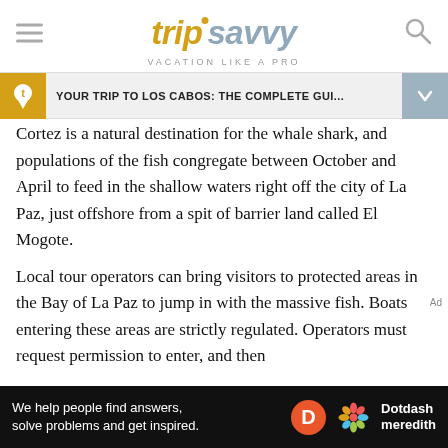tripsavvy VACATION LIKE A PRO
YOUR TRIP TO LOS CABOS: THE COMPLETE GUI...
Cortez is a natural destination for the whale shark, and populations of the fish congregate between October and April to feed in the shallow waters right off the city of La Paz, just offshore from a spit of barrier land called El Mogote.
Local tour operators can bring visitors to protected areas in the Bay of La Paz to jump in with the massive fish. Boats entering these areas are strictly regulated. Operators must request permission to enter, and then
[Figure (logo): Dotdash Meredith advertisement banner: 'We help people find answers, solve problems and get inspired.']